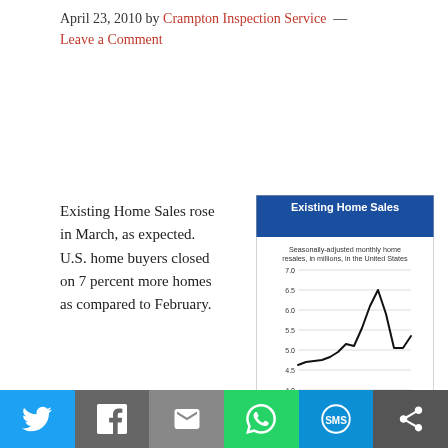April 23, 2010 by Crampton Inspection Service — Leave a Comment
Existing Home Sales rose in March, as expected. U.S. home buyers closed on 7 percent more homes as compared to February.
[Figure (line-chart): Seasonally-adjusted monthly home resales, in millions, in the United States. Line chart from Jan 2009 to Mar 2010 showing a rise from ~4.6 to a peak of ~6.5 in Nov 2009, then a drop and slight recovery to ~5.3.]
Furthermore